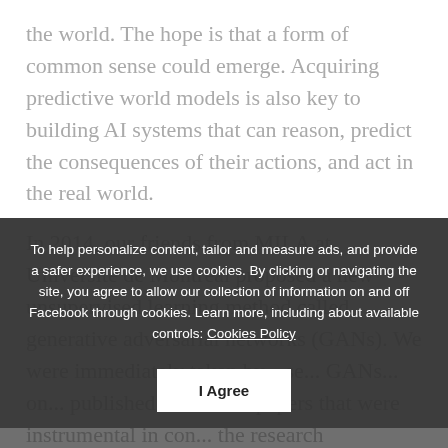the world. The hope is that a form of common sense could emerge. Acquiring predictive world models is also key to building AI systems that can reason, predict the consequences of their actions, and act in the real world.
In 2014, our friends from MILA at Université de Montréal proposed a new unsupervised learning method called generative adversarial networks (GANs). We were immediately taken by... GANs... only... published a series of papers that were instrumental in convincing the research community that GANs really worked. GANs are
To help personalize content, tailor and measure ads, and provide a safer experience, we use cookies. By clicking or navigating the site, you agree to allow our collection of information on and off Facebook through cookies. Learn more, including about available controls: Cookies Policy
I Agree